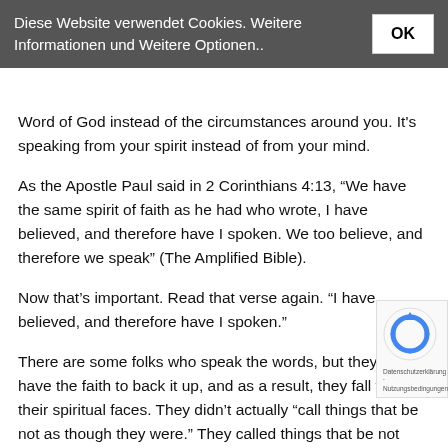Diese Website verwendet Cookies. Weitere Informationen und Weitere Optionen.. OK
Word of God instead of the circumstances around you. It's speaking from your spirit instead of from your mind.
As the Apostle Paul said in 2 Corinthians 4:13, “We have the same spirit of faith as he had who wrote, I have believed, and therefore have I spoken. We too believe, and therefore we speak” (The Amplified Bible).
Now that’s important. Read that verse again. “I have believed, and therefore have I spoken.”
There are some folks who speak the words, but they don’t have the faith to back it up, and as a result, they fall flat on their spiritual faces. They didn’t actually “call things that be not as though they were.” They called things that be not th… they wished they were.
Those are two very different things. The words may be the